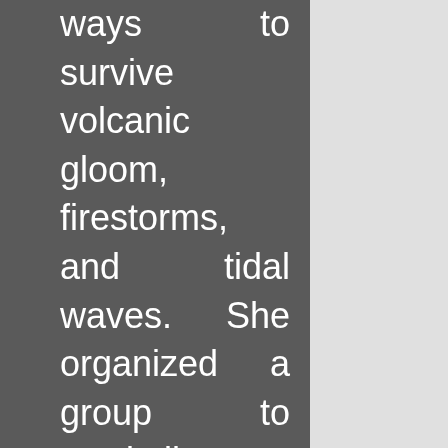ways to survive volcanic gloom, firestorms, and tidal waves. She organized a group to stockpile seeds and other supplies. Oh yes, and she killed her